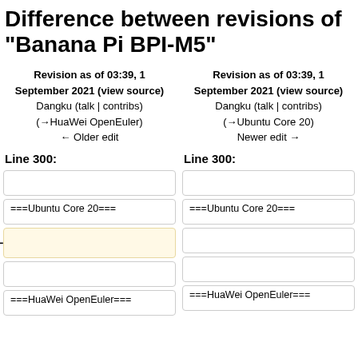Difference between revisions of "Banana Pi BPI-M5"
Revision as of 03:39, 1 September 2021 (view source)
Dangku (talk | contribs)
(→HuaWei OpenEuler)
← Older edit
Revision as of 03:39, 1 September 2021 (view source)
Dangku (talk | contribs)
(→Ubuntu Core 20)
Newer edit →
Line 300:
Line 300:
===Ubuntu Core 20===
===Ubuntu Core 20===
===HuaWei OpenEuler===
===HuaWei OpenEuler===